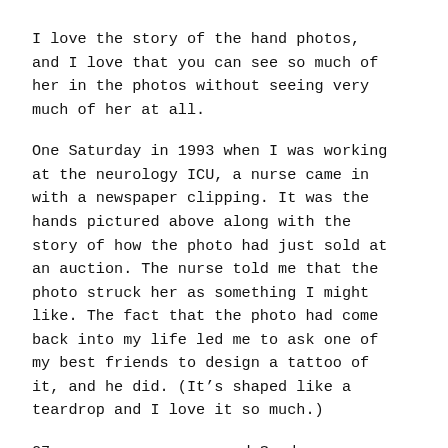I love the story of the hand photos, and I love that you can see so much of her in the photos without seeing very much of her at all.
One Saturday in 1993 when I was working at the neurology ICU, a nurse came in with a newspaper clipping. It was the hands pictured above along with the story of how the photo had just sold at an auction. The nurse told me that the photo struck her as something I might like. The fact that the photo had come back into my life led me to ask one of my best friends to design a tattoo of it, and he did. (It’s shaped like a teardrop and I love it so much.)
27 years ago a guy named Snyder